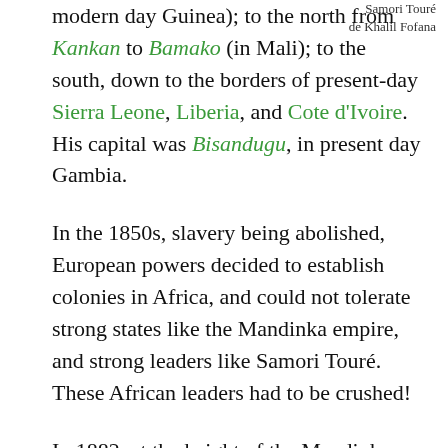modern day Guinea); to the north from Kankan to Bamako (in Mali); to the south, down to the borders of present-day Sierra Leone, Liberia, and Cote d'Ivoire. His capital was Bisandugu, in present day Gambia.
Samori Touré de Khalil Fofana
In the 1850s, slavery being abolished, European powers decided to establish colonies in Africa, and could not tolerate strong states like the Mandinka empire, and strong leaders like Samori Touré. These African leaders had to be crushed!
In 1882, at the height of the Mandinka empire, the French accused Samori Touré of refusing to comply to their order to withdraw from an important market